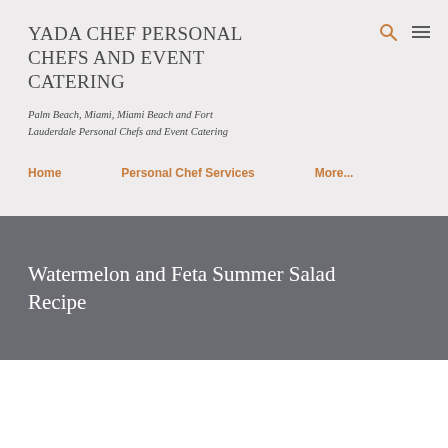YADA CHEF PERSONAL CHEFS AND EVENT CATERING
Palm Beach, Miami, Miami Beach and Fort Lauderdale Personal Chefs and Event Catering
Home  Personal Chef Services  More...
Watermelon and Feta Summer Salad Recipe